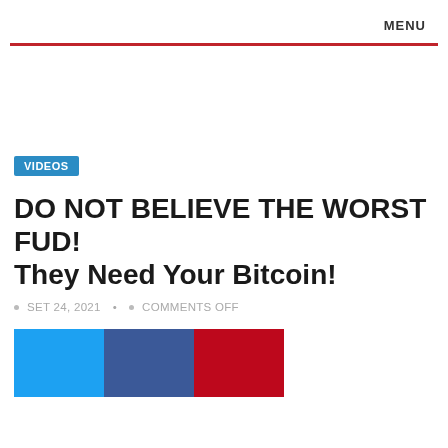MENU
VIDEOS
DO NOT BELIEVE THE WORST FUD! They Need Your Bitcoin!
SET 24, 2021 • COMMENTS OFF
[Figure (other): Social share buttons: Twitter (blue), Facebook (dark blue), Pinterest (red)]